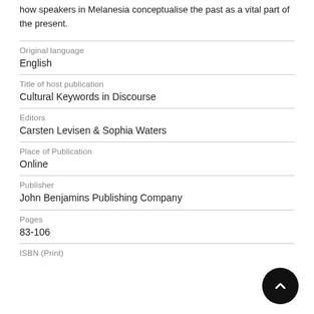how speakers in Melanesia conceptualise the past as a vital part of the present.
| Original language | English |
| Title of host publication | Cultural Keywords in Discourse |
| Editors | Carsten Levisen & Sophia Waters |
| Place of Publication | Online |
| Publisher | John Benjamins Publishing Company |
| Pages | 83-106 |
| ISBN (Print) |  |